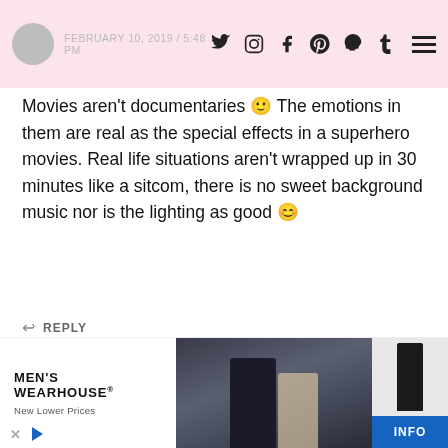FEBRUARY 10, 2019 / 5:48 PM — social icons: twitter, instagram, facebook, pinterest, snapchat, tumblr — hamburger menu
Movies aren't documentaries 🙂 The emotions in them are real as the special effects in a superhero movies. Real life situations aren't wrapped up in 30 minutes like a sitcom, there is no sweet background music nor is the lighting as good 😊
↩ REPLY
9_8NA
FEBRUARY 10, 2019 / 9:27 PM
[Figure (infographic): Men's Wearhouse advertisement banner with couple in formal wear and info button]